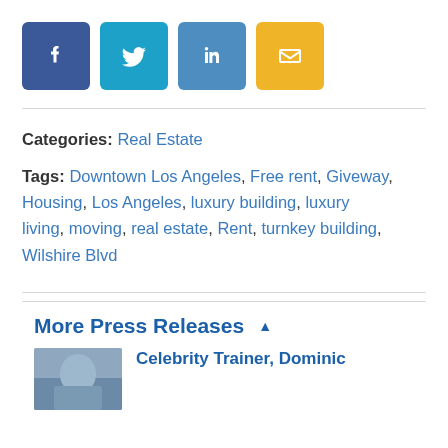[Figure (infographic): Four social media share buttons: Facebook (blue), Twitter (cyan), LinkedIn (steel blue), Email (yellow/gold), each as a square icon with white symbol]
Categories: Real Estate
Tags: Downtown Los Angeles, Free rent, Giveway, Housing, Los Angeles, luxury building, luxury living, moving, real estate, Rent, turnkey building, Wilshire Blvd
More Press Releases ▲
[Figure (photo): Thumbnail image for press release article about Celebrity Trainer, Dominic]
Celebrity Trainer, Dominic